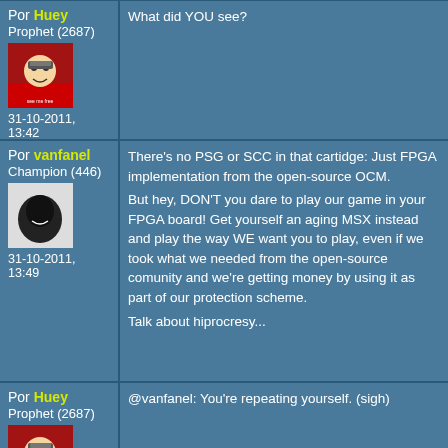Por Huey
Prophet (2687)
31-10-2011, 13:42
What did YOU see?
Por vanfanel
Champion (446)
31-10-2011, 13:49
There's no PSG or SCC in that cartidge: Just FPGA implementation from the open-source OCM.
But hey, DON'T you dare to play our game in your FPGA board! Get yourself an aging MSX instead and play the way WE want you to play, even if we took what we needed from the open-source comunity and we're getting money by using it as part of our protection scheme.
Talk about hiprocresy...
Por Huey
Prophet (2687)
31-10-2011, 13:56
@vanfanel: You're repeating yourself. (sigh)
Por ...